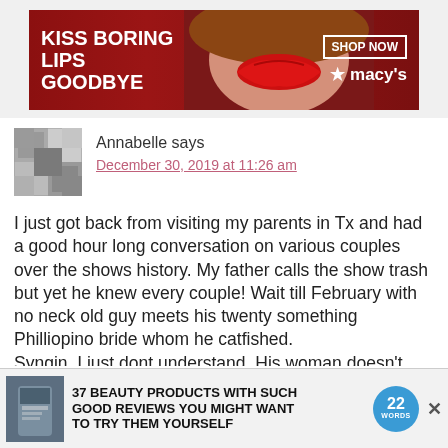[Figure (photo): Macy's advertisement banner: 'KISS BORING LIPS GOODBYE' with red lips photo and 'SHOP NOW macy's' on dark red background]
Annabelle says
December 30, 2019 at 11:26 am
I just got back from visiting my parents in Tx and had a good hour long conversation on various couples over the shows history. My father calls the show trash but yet he knew every couple! Wait till February with no neck old guy meets his twenty something Philliopino bride whom he catfished.
Syngin, I just dont understand. His woman doesn't believe in bras and this shows in that pink shirt she's always in!
Angela always mentioning her right to marry as a US citizen. I think Michael needs to stay there and f
[Figure (photo): Bottom advertisement: '37 BEAUTY PRODUCTS WITH SUCH GOOD REVIEWS YOU MIGHT WANT TO TRY THEM YOURSELF' with product image and '22 WORDS' badge]